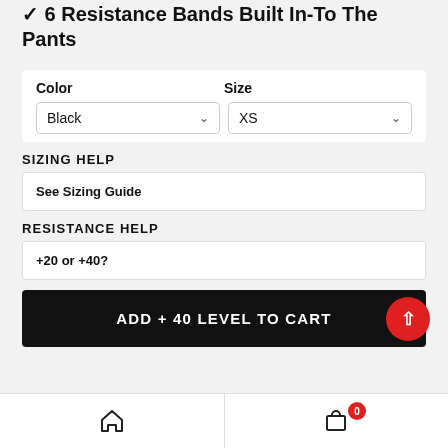✓ 6 Resistance Bands Built In-To The Pants
Color
Black
Size
XS
SIZING HELP
See Sizing Guide
RESISTANCE HELP
+20 or +40?
ADD + 40 LEVEL TO CART
Home | Cart 0